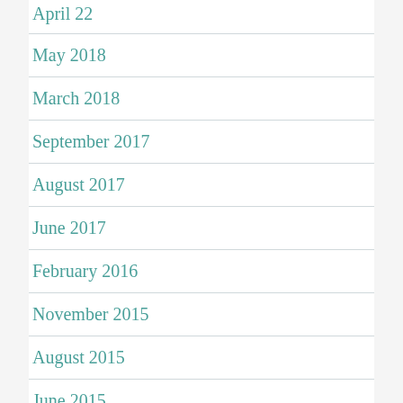April 22
May 2018
March 2018
September 2017
August 2017
June 2017
February 2016
November 2015
August 2015
June 2015
April 2015